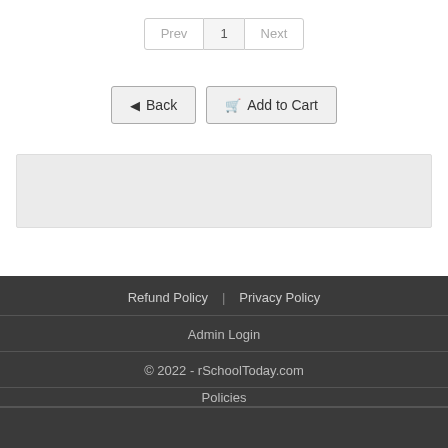Prev 1 Next
Back | Add to Cart
[Figure (other): Gray empty content box]
Refund Policy | Privacy Policy
Admin Login
© 2022 - rSchoolToday.com
Policies